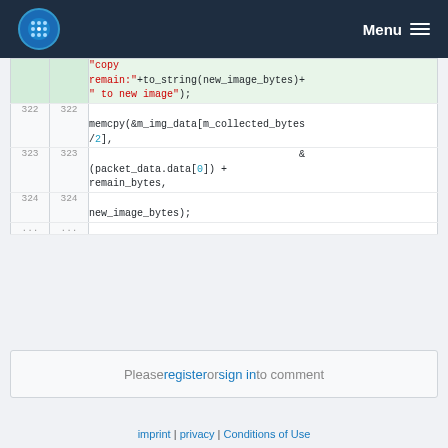Menu
Code diff showing lines 322-324 with memcpy call
Please register or sign in to comment
imprint | privacy | Conditions of Use